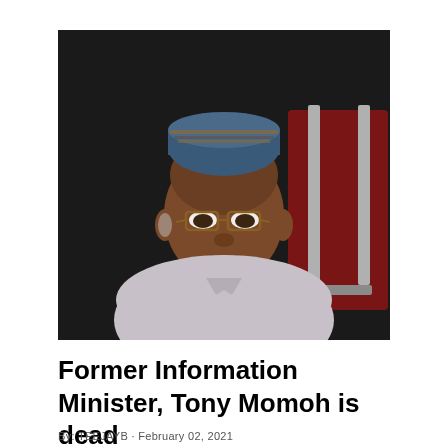[Figure (photo): Photograph of Tony Momoh, an elderly Nigerian man wearing glasses and a traditional embroidered cap (kuffi), dressed in a light grey traditional attire, seated in front of red chairs against a dark background.]
Former Information Minister, Tony Momoh is dead
By: TEEJAYB · February 02, 2021